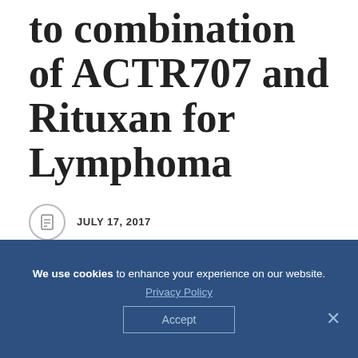to combination of ACTR707 and Rituxan for Lymphoma
JULY 17, 2017
BY ALICE MELÃO
IN NEWS.
We use cookies to enhance your experience on our website. Privacy Policy Accept